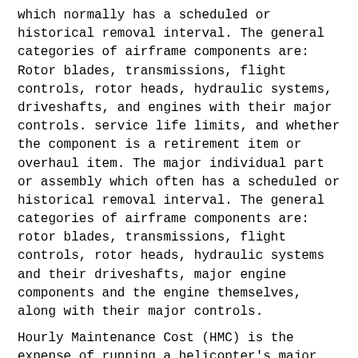which normally has a scheduled or historical removal interval. The general categories of airframe components are: Rotor blades, transmissions, flight controls, rotor heads, hydraulic systems, driveshafts, and engines with their major controls. service life limits, and whether the component is a retirement item or overhaul item. The major individual part or assembly which often has a scheduled or historical removal interval. The general categories of airframe components are: rotor blades, transmissions, flight controls, rotor heads, hydraulic systems and their driveshafts, major engine components and the engine themselves, along with their major controls.
Hourly Maintenance Cost (HMC) is the expense of running a helicopter's major components for one hour. The HMC includes the parts and labor required for scheduled and unscheduled helicopter maintenance and helicopter inspections that are